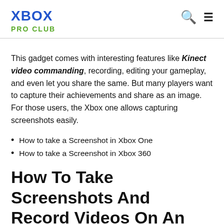XBOX PRO CLUB
This gadget comes with interesting features like Kinect video commanding, recording, editing your gameplay, and even let you share the same. But many players want to capture their achievements and share as an image. For those users, the Xbox one allows capturing screenshots easily.
How to take a Screenshot in Xbox One
How to take a Screenshot in Xbox 360
How To Take Screenshots And Record Videos On An Xbox One